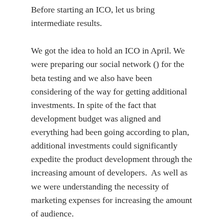Before starting an ICO, let us bring intermediate results.
We got the idea to hold an ICO in April. We were preparing our social network () for the beta testing and we also have been considering of the way for getting additional investments. In spite of the fact that development budget was aligned and everything had been going according to plan, additional investments could significantly expedite the product development through the increasing amount of developers.  As well as we were understanding the necessity of marketing expenses for increasing the amount of audience.
We had considered a number of different variants to attract investments, but at this stage of the product